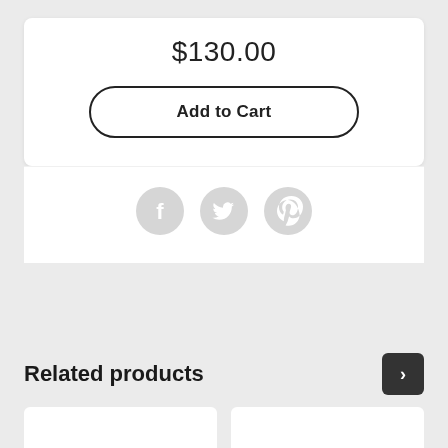$130.00
Add to Cart
[Figure (illustration): Three social media share icons: Facebook (f), Twitter (bird), Pinterest (p) — light grey circles]
Related products
[Figure (illustration): Navigation next arrow button (dark square with right chevron) and two partial product card thumbnails at the bottom]